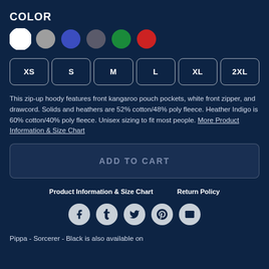COLOR
[Figure (other): Color swatches: white (selected), gray, blue, dark gray, green, red circles]
[Figure (other): Size selector buttons: XS, S, M, L, XL, 2XL]
This zip-up hoody features front kangaroo pouch pockets, white front zipper, and drawcord. Solids and heathers are 52% cotton/48% poly fleece. Heather Indigo is 60% cotton/40% poly fleece. Unisex sizing to fit most people. More Product Information & Size Chart
ADD TO CART
Product Information & Size Chart    Return Policy
[Figure (other): Social media icons row: Facebook, Tumblr, Twitter, Pinterest, Email]
Pippa - Sorcerer - Black is also available on